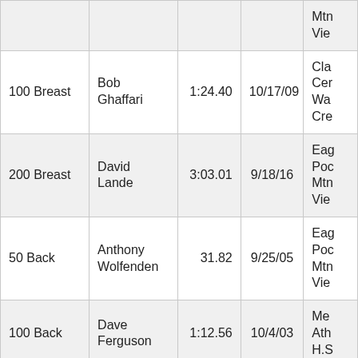| Event | Name | Time | Date | Meet |
| --- | --- | --- | --- | --- |
|  |  |  |  | Vie |
| 100 Breast | Bob Ghaffari | 1:24.40 | 10/17/09 | Cla
Cer
Wa
Cre |
| 200 Breast | David Lande | 3:03.01 | 9/18/16 | Eag
Poc
Mtn
Vie |
| 50 Back | Anthony Wolfenden | 31.82 | 9/25/05 | Eag
Poc
Mtn
Vie |
| 100 Back | Dave Ferguson | 1:12.56 | 10/4/03 | Me
Ath
H.S |
| 200 Back | Anthony Wolfenden | 02:30.3 | 9/25/05 | Eag
Poc
Mtn
Vie |